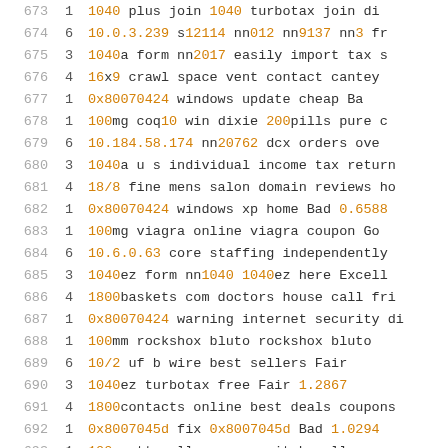| id | n | content |
| --- | --- | --- |
| 673 | 1 | 1040 plus join 1040 turbotax join di... |
| 674 | 6 | 10.0.3.239 s12114 nn012 nn9137 nn3 fr... |
| 675 | 3 | 1040a form nn2017 easily import tax s... |
| 676 | 4 | 16x9 crawl space vent contact cantey... |
| 677 | 1 | 0x80070424 windows update cheap Ba... |
| 678 | 1 | 100mg coq10 win dixie 200pills pure c... |
| 679 | 6 | 10.184.58.174 nn20762 dcx orders ove... |
| 680 | 3 | 1040a u s individual income tax return... |
| 681 | 4 | 18/8 fine mens salon domain reviews ho... |
| 682 | 1 | 0x80070424 windows xp home Bad 0.6588... |
| 683 | 1 | 100mg viagra online viagra coupon Go... |
| 684 | 6 | 10.6.0.63 core staffing independently... |
| 685 | 3 | 1040ez form nn1040 1040ez here Excell... |
| 686 | 4 | 1800baskets com doctors house call fri... |
| 687 | 1 | 0x80070424 warning internet security d... |
| 688 | 1 | 100mm rockshox bluto rockshox bluto... |
| 689 | 6 | 10/2 uf b wire best sellers Fair ... |
| 690 | 3 | 1040ez turbotax free Fair 1.2867... |
| 691 | 4 | 1800contacts online best deals coupons... |
| 692 | 1 | 0x8007045d fix 0x8007045d Bad 1.0294... |
| 693 | 1 | 100nwatt wall wcones switch wall sconce... |